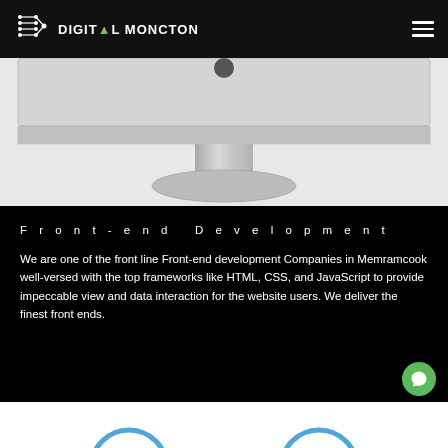DIGITAL MONCTON
[Figure (photo): Bottom portion of an iMac computer showing the silver stand and base, cropped from above, on a light gray background]
Front-end Development
We are one of the front line Front-end development Companies in Memramcook well-versed with the top frameworks like HTML, CSS, and JavaScript to provide impeccable view and data interaction for the website users. We deliver the finest front ends.
[Figure (illustration): Two partial blue circle arcs visible at the bottom of the page]